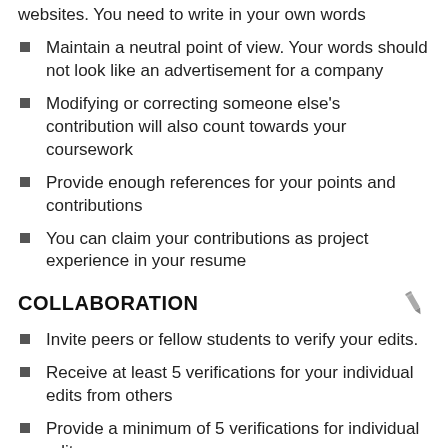websites. You need to write in your own words
Maintain a neutral point of view. Your words should not look like an advertisement for a company
Modifying or correcting someone else's contribution will also count towards your coursework
Provide enough references for your points and contributions
You can claim your contributions as project experience in your resume
COLLABORATION
Invite peers or fellow students to verify your edits.
Receive at least 5 verifications for your individual edits from others
Provide a minimum of 5 verifications for individual edits